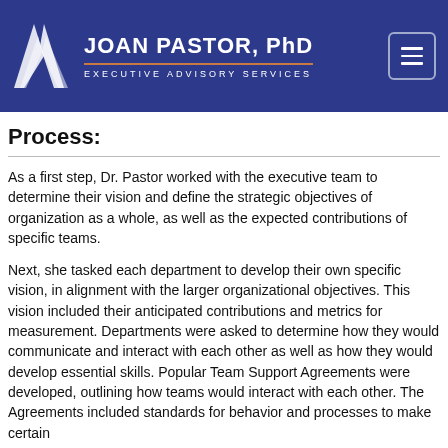JOAN PASTOR, PhD — EXECUTIVE ADVISORY SERVICES
Process:
As a first step, Dr. Pastor worked with the executive team to determine their vision and define the strategic objectives of organization as a whole, as well as the expected contributions of specific teams.
Next, she tasked each department to develop their own specific vision, in alignment with the larger organizational objectives. This vision included their anticipated contributions and metrics for measurement. Departments were asked to determine how they would communicate and interact with each other as well as how they would develop essential skills. Popular Team Support Agreements were developed, outlining how teams would interact with each other. The Agreements included standards for behavior and processes to make certain